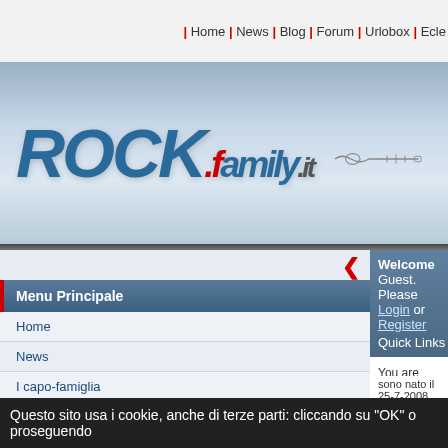Home | News | Blog | Forum | Urlobox | Ecle
[Figure (logo): ROCK.family.it logo with guitar graphic on gradient blue/grey background]
Menu Principale
Welcome Guest. Please Login or Register   Quick Links
You are here: Index > Tutti i Forum della RockFaMily > Benver... DEL MONDO
Threaded Mode | Tell a friend | Print
IL ROCKER PIU' GIOVANE DEL MONDO (68 Repl...
rasomino   # July 28, 2008, 12:51 pm
Home
News
I capo-famiglia
Blog
Forum
Regole del Forum
Urlobox
Download
RockFM l'ultima valros...
Tour De Force
Questo sito usa i cookie, anche di terze parti: cliccando su "OK" o proseguendo
sono nato il 25-7-2008